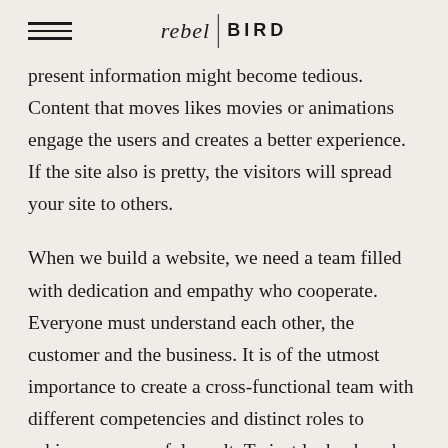rebel | BIRD
present information might become tedious. Content that moves likes movies or animations engage the users and creates a better experience. If the site also is pretty, the visitors will spread your site to others.
When we build a website, we need a team filled with dedication and empathy who cooperate. Everyone must understand each other, the customer and the business. It is of the utmost importance to create a cross-functional team with different competencies and distinct roles to achieve a successful result. To just lock a bunch of developers into a cellar with an order has never worked.